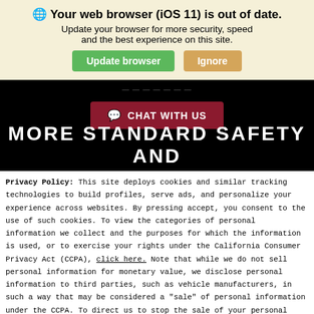🌐 Your web browser (iOS 11) is out of date.
Update your browser for more security, speed and the best experience on this site.
[Figure (screenshot): Two buttons: 'Update browser' (green) and 'Ignore' (tan/gold)]
[Figure (screenshot): Dark header area with red 'CHAT WITH US' button and white text 'MORE STANDARD SAFETY AND']
Privacy Policy: This site deploys cookies and similar tracking technologies to build profiles, serve ads, and personalize your experience across websites. By pressing accept, you consent to the use of such cookies. To view the categories of personal information we collect and the purposes for which the information is used, or to exercise your rights under the California Consumer Privacy Act (CCPA), click here. Note that while we do not sell personal information for monetary value, we disclose personal information to third parties, such as vehicle manufacturers, in such a way that may be considered a "sale" of personal information under the CCPA. To direct us to stop the sale of your personal information, or to re-access these settings or disclosures at anytime, click the following icon or link:
Do Not Sell My Personal Information
Language: English    Powered by ComplyAuto
Accept and Continue →   California Privacy Disclosures   ×